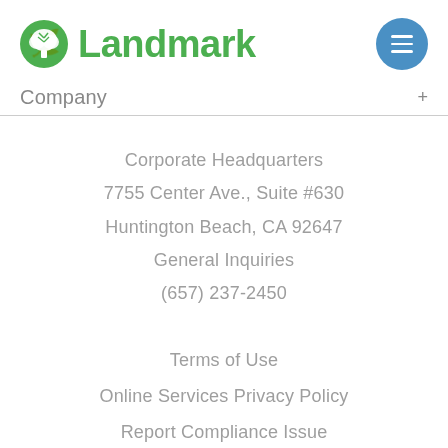[Figure (logo): Landmark logo with green tree icon and green 'Landmark' text]
Company
Corporate Headquarters
7755 Center Ave., Suite #630
Huntington Beach, CA 92647
General Inquiries
(657) 237-2450
Terms of Use
Online Services Privacy Policy
Report Compliance Issue
Coronavirus / COVID-19